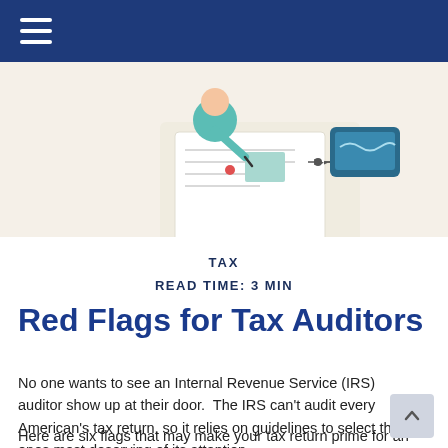TAX | READ TIME: 3 MIN
[Figure (illustration): Illustration of a person reviewing tax documents with a pen, with a digital device in the background, on a blue header background]
TAX
READ TIME: 3 MIN
Red Flags for Tax Auditors
No one wants to see an Internal Revenue Service (IRS) auditor show up at their door.  The IRS can't audit every American's tax return, so it relies on guidelines to select the ones most deserving of its attention.
Here are six flags that may make your tax return prime for an IRS audit.1